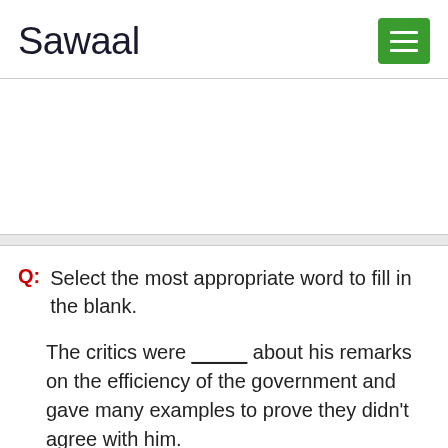Sawaal
Q: Select the most appropriate word to fill in the blank.
The critics were _____ about his remarks on the efficiency of the government and gave many examples to prove they didn't agree with him.